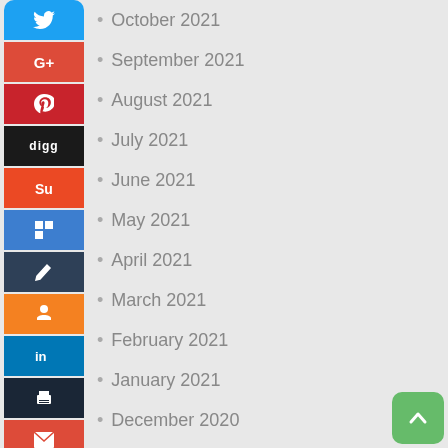October 2021
September 2021
August 2021
July 2021
June 2021
May 2021
April 2021
March 2021
February 2021
January 2021
December 2020
November 2020
October 2020
September 2020
August 2020
July 2020
June 2020
May 2020
April 2020
March 2020
February 2020
January 2020
December 2019